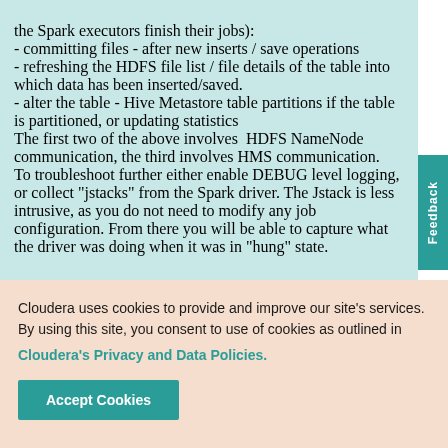the Spark executors finish their jobs):
- committing files - after new inserts / save operations
- refreshing the HDFS file list / file details of the table into which data has been inserted/saved.
- alter the table - Hive Metastore table partitions if the table is partitioned, or updating statistics
The first two of the above involves HDFS NameNode communication, the third involves HMS communication.
To troubleshoot further either enable DEBUG level logging, or collect "jstacks" from the Spark driver. The Jstack is less intrusive, as you do not need to modify any job configuration. From there you will be able to capture what the driver was doing when it was in "hung" state.
Cloudera uses cookies to provide and improve our site's services. By using this site, you consent to use of cookies as outlined in Cloudera's Privacy and Data Policies.
Accept Cookies